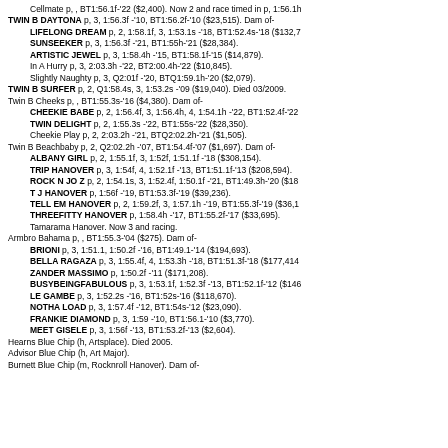Cellmate p, , BT1:56.1f-'22 ($2,400). Now 2 and race timed in p, 1:56.1h
TWIN B DAYTONA p, 3, 1:56.3f -'10, BT1:56.2f-'10 ($23,515). Dam of-
LIFELONG DREAM p, 2, 1:58.1f, 3, 1:53.1s -'18, BT1:52.4s-'18 ($132,7
SUNSEEKER p, 3, 1:56.3f -'21, BT1:55h-'21 ($28,384).
ARTISTIC JEWEL p, 3, 1:58.4h -'15, BT1:58.1f-'15 ($14,879).
In A Hurry p, 3, 2:03.3h -'22, BT2:00.4h-'22 ($10,845).
Slightly Naughty p, 3, Q2:01f -'20, BTQ1:59.1h-'20 ($2,079).
TWIN B SURFER p, 2, Q1:58.4s, 3, 1:53.2s -'09 ($19,040). Died 03/2009.
Twin B Cheeks p, , BT1:55.3s-'16 ($4,380). Dam of-
CHEEKIE BABE p, 2, 1:56.4f, 3, 1:56.4h, 4, 1:54.1h -'22, BT1:52.4f-'22
TWIN DELIGHT p, 2, 1:55.3s -'22, BT1:55s-'22 ($28,350).
Cheekie Play p, 2, 2:03.2h -'21, BTQ2:02.2h-'21 ($1,505).
Twin B Beachbaby p, 2, Q2:02.2h -'07, BT1:54.4f-'07 ($1,697). Dam of-
ALBANY GIRL p, 2, 1:55.1f, 3, 1:52f, 1:51.1f -'18 ($308,154).
TRIP HANOVER p, 3, 1:54f, 4, 1:52.1f -'13, BT1:51.1f-'13 ($208,594).
ROCK N JO Z p, 2, 1:54.1s, 3, 1:52.4f, 1:50.1f -'21, BT1:49.3h-'20 ($18
T J HANOVER p, 1:56f -'19, BT1:53.3f-'19 ($39,236).
TELL EM HANOVER p, 2, 1:59.2f, 3, 1:57.1h -'19, BT1:55.3f-'19 ($36,1
THREEFITTY HANOVER p, 1:58.4h -'17, BT1:55.2f-'17 ($33,695).
Tamarama Hanover. Now 3 and racing.
Armbro Bahama p, , BT1:55.3-'04 ($275). Dam of-
BRIONI p, 3, 1:51.1, 1:50.2f -'16, BT1:49.1-'14 ($194,693).
BELLA RAGAZA p, 3, 1:55.4f, 4, 1:53.3h -'18, BT1:51.3f-'18 ($177,414
ZANDER MASSIMO p, 1:50.2f -'11 ($171,208).
BUSYBEINGFABULOUS p, 3, 1:53.1f, 1:52.3f -'13, BT1:52.1f-'12 ($146
LE GAMBE p, 3, 1:52.2s -'16, BT1:52s-'16 ($118,670).
NOTHA LOAD p, 3, 1:57.4f -'12, BT1:54s-'12 ($23,090).
FRANKIE DIAMOND p, 3, 1:59 -'10, BT1:56.1-'10 ($3,770).
MEET GISELE p, 3, 1:56f -'13, BT1:53.2f-'13 ($2,604).
Hearns Blue Chip (h, Artsplace). Died 2005.
Advisor Blue Chip (h, Art Major).
Burnett Blue Chip (m, Rocknroll Hanover). Dam of-